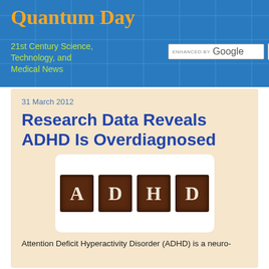Quantum Day
21st Century Science, Technology, and Medical News
Research Data Reveals ADHD Is Overdiagnosed
31 March 2012
[Figure (photo): Four dark metallic letter tiles spelling A, D, H, D on a beige background]
Attention Deficit Hyperactivity Disorder (ADHD) is a neuro-